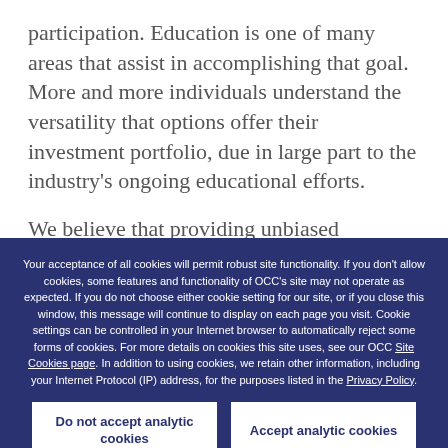participation. Education is one of many areas that assist in accomplishing that goal. More and more individuals understand the versatility that options offer their investment portfolio, due in large part to the industry's ongoing educational efforts.
We believe that providing unbiased education to
Your acceptance of all cookies will permit robust site functionality. If you don't allow cookies, some features and functionality of OCC's site may not operate as expected. If you do not choose either cookie setting for our site, or if you close this window, this message will continue to display on each page you visit. Cookie settings can be controlled in your Internet browser to automatically reject some forms of cookies. For more details on cookies this site uses, see our OCC Site Cookies page. In addition to using cookies, we retain other information, including your Internet Protocol (IP) address, for the purposes listed in the Privacy Policy.
Do not accept analytic cookies
Accept analytic cookies